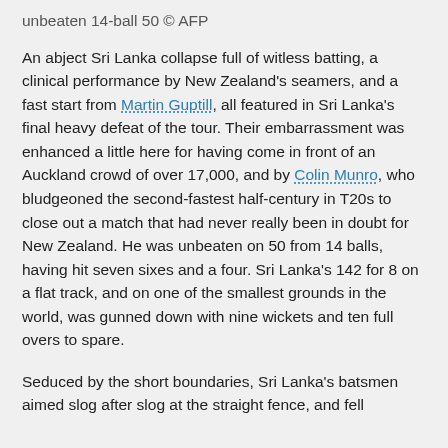unbeaten 14-ball 50 © AFP
An abject Sri Lanka collapse full of witless batting, a clinical performance by New Zealand's seamers, and a fast start from Martin Guptill, all featured in Sri Lanka's final heavy defeat of the tour. Their embarrassment was enhanced a little here for having come in front of an Auckland crowd of over 17,000, and by Colin Munro, who bludgeoned the second-fastest half-century in T20s to close out a match that had never really been in doubt for New Zealand. He was unbeaten on 50 from 14 balls, having hit seven sixes and a four. Sri Lanka's 142 for 8 on a flat track, and on one of the smallest grounds in the world, was gunned down with nine wickets and ten full overs to spare.
Seduced by the short boundaries, Sri Lanka's batsmen aimed slog after slog at the straight fence, and fell